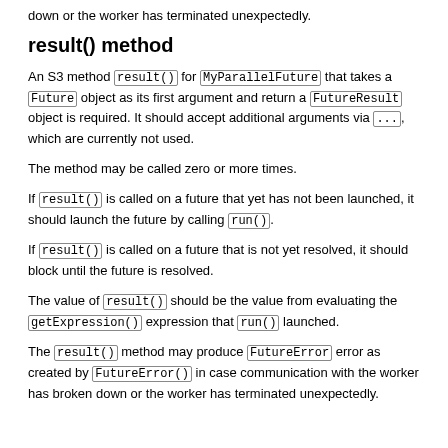down or the worker has terminated unexpectedly.
result() method
An S3 method result() for MyParallelFuture that takes a Future object as its first argument and return a FutureResult object is required. It should accept additional arguments via ..., which are currently not used.
The method may be called zero or more times.
If result() is called on a future that yet has not been launched, it should launch the future by calling run().
If result() is called on a future that is not yet resolved, it should block until the future is resolved.
The value of result() should be the value from evaluating the getExpression() expression that run() launched.
The result() method may produce FutureError error as created by FutureError() in case communication with the worker has broken down or the worker has terminated unexpectedly.